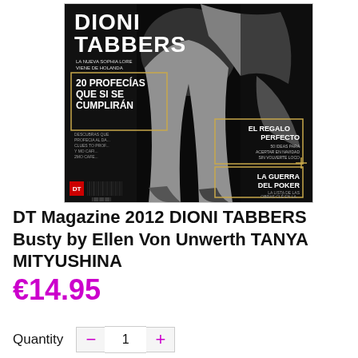[Figure (photo): Magazine cover of DT Magazine 2012 featuring DIONI TABBERS in black and white. Cover shows a woman's legs and body in lingerie. Text on cover includes 'DIONI TABBERS', 'LA NUEVA SOPHIA LOREN VIENE DE HOLANDA', '20 PROFECIAS QUE SI SE CUMPLIRAN', 'EL REGALO PERFECTO 50 IDEAS PARA ACERTAR EN NAVIDAD SIN VOLVERTE LOCO', 'LA GUERRA DEL POKER'.]
DT Magazine 2012 DIONI TABBERS Busty by Ellen Von Unwerth TANYA MITYUSHINA
€14.95
Quantity  -  1  +